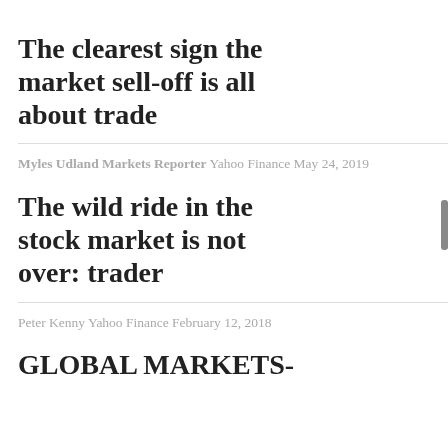The clearest sign the market sell-off is all about trade
Myles Udland Markets Reporter Yahoo Finance May 24, 2019
The wild ride in the stock market is not over: trader
Peter Kenny Yahoo Finance February 12, 2018
GLOBAL MARKETS-